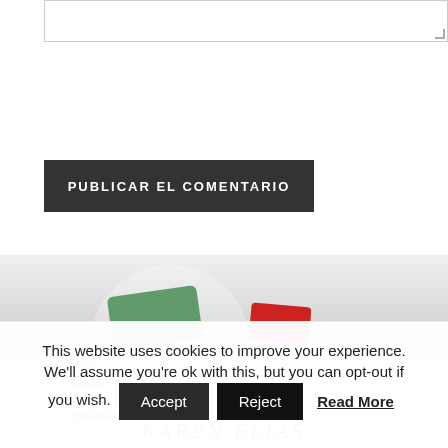[Figure (screenshot): Textarea input box with resize handle at bottom right]
PUBLICAR EL COMENTARIO
Recibir un email con cada nueva entrada.
KAREN ELÍAS
[Figure (photo): Partial image showing colored objects (green and red) on a light background]
This website uses cookies to improve your experience. We'll assume you're ok with this, but you can opt-out if you wish.
Accept
Reject
Read More